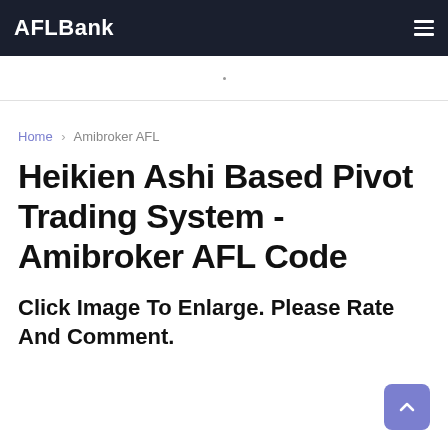AFLBank
Home › Amibroker AFL
Heikien Ashi Based Pivot Trading System - Amibroker AFL Code
Click Image To Enlarge. Please Rate And Comment.